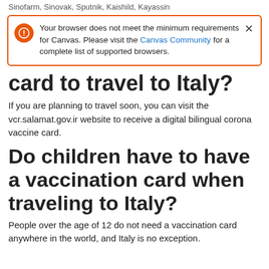Sinofarm, Sinovak, Sputnik, Kaishild, Kayassin
Your browser does not meet the minimum requirements for Canvas. Please visit the Canvas Community for a complete list of supported browsers.
card to travel to Italy?
If you are planning to travel soon, you can visit the vcr.salamat.gov.ir website to receive a digital bilingual corona vaccine card.
Do children have to have a vaccination card when traveling to Italy?
People over the age of 12 do not need a vaccination card anywhere in the world, and Italy is no exception.